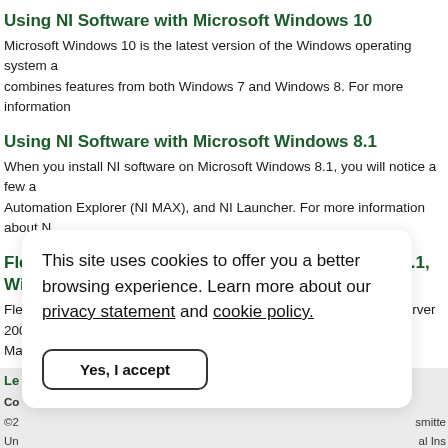Using NI Software with Microsoft Windows 10
Microsoft Windows 10 is the latest version of the Windows operating system a combines features from both Windows 7 and Windows 8. For more information
Using NI Software with Microsoft Windows 8.1
When you install NI software on Microsoft Windows 8.1, you will notice a few a Automation Explorer (NI MAX), and NI Launcher. For more information about N
FlexRIO Drops Support for Windows 7, Windows 8.1, Windows Server 2
FlexRIO will drop support for Windows 7, Windows 8.1, Windows Server 2008 May 1, 2021, may not install or execute correctly on these operating systems.
This site uses cookies to offer you a better browsing experience. Learn more about our privacy statement and cookie policy.
Yes, I accept
Le
Co
©2
Un smitte
tra al Ins
NI o the s
so only
res
En